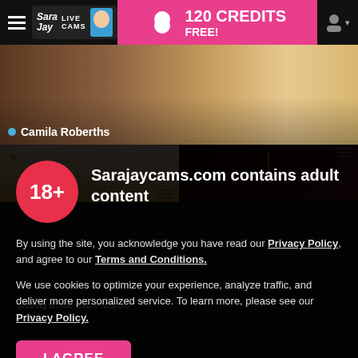Sara Jay LIVE CAMS | 120 CREDITS FREE!
[Figure (screenshot): Webcam thumbnail of Camila Roberths]
Camila Roberths
[Figure (screenshot): Two smaller webcam thumbnails in second row]
Sarajaycams.com contains adult content
By using the site, you acknowledge you have read our Privacy Policy, and agree to our Terms and Conditions.
We use cookies to optimize your experience, analyze traffic, and deliver more personalized service. To learn more, please see our Privacy Policy.
I AGREE